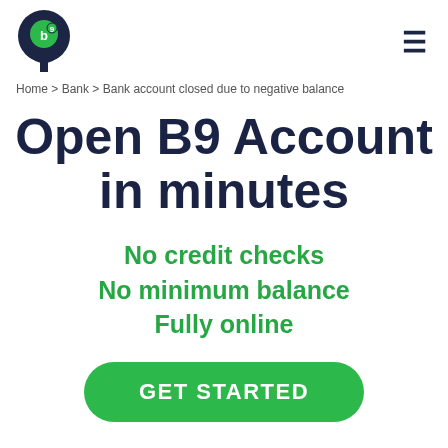B9 logo and navigation menu
Home > Bank > Bank account closed due to negative balance
Open B9 Account in minutes
No credit checks
No minimum balance
Fully online
GET STARTED